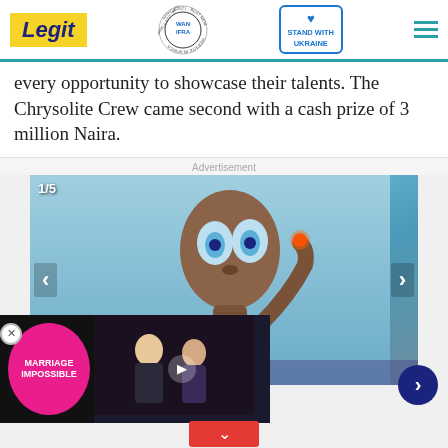Legit — WAN IFRA Best News Website in Africa 2021 — Stand With Ukraine
every opportunity to showcase their talents. The Chrysolite Crew came second with a cash prize of 3 million Naira.
Advertisement
[Figure (photo): Slideshow image showing E.T. the Extra-Terrestrial character raising glowing finger, counter showing 1/5, with navigation arrows and caption area showing 'in History'. Video overlay with Marriage Impossible badge and a couple photo thumbnail. Next circle arrow button and scroll-down red button also visible.]
[Figure (photo): Support Ukrainian Army advertisement banner with soldiers image on left, blue text 'Support Ukrainian Army', subtext 'Donate to defend Ukraine and democracy', Ukrainian flag colors on right, and close X button.]